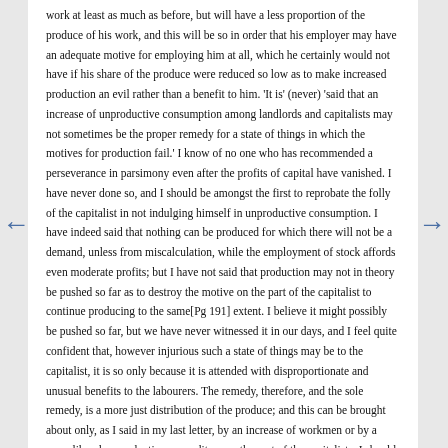work at least as much as before, but will have a less proportion of the produce of his work, and this will be so in order that his employer may have an adequate motive for employing him at all, which he certainly would not have if his share of the produce were reduced so low as to make increased production an evil rather than a benefit to him. 'It is' (never) 'said that an increase of unproductive consumption among landlords and capitalists may not sometimes be the proper remedy for a state of things in which the motives for production fail.' I know of no one who has recommended a perseverance in parsimony even after the profits of capital have vanished. I have never done so, and I should be amongst the first to reprobate the folly of the capitalist in not indulging himself in unproductive consumption. I have indeed said that nothing can be produced for which there will not be a demand, unless from miscalculation, while the employment of stock affords even moderate profits; but I have not said that production may not in theory be pushed so far as to destroy the motive on the part of the capitalist to continue producing to the same[Pg 191] extent. I believe it might possibly be pushed so far, but we have never witnessed it in our days, and I feel quite confident that, however injurious such a state of things may be to the capitalist, it is so only because it is attended with disproportionate and unusual benefits to the labourers. The remedy, therefore, and the sole remedy, is a more just distribution of the produce; and this can be brought about only, as I said in my last letter, by an increase of workmen or by a more liberal unproductive expenditure on the part of the capitalists. I should not make a protest against an increase of